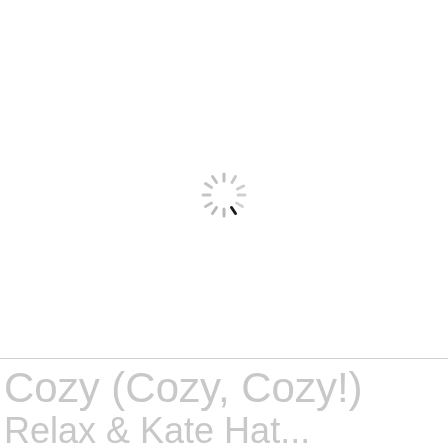[Figure (other): Loading spinner icon — a circular arrangement of short radial dashes in gray, with the bottom-right dash darker (near-black), indicating a loading/spinning state. Centered in the upper portion of the page.]
Cozy (Cozy, Cozy!) Relax & Kate Hat...